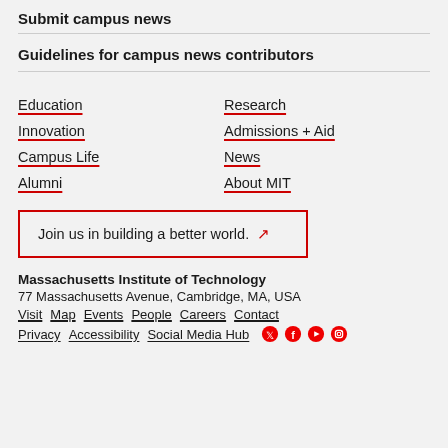Submit campus news
Guidelines for campus news contributors
Education
Research
Innovation
Admissions + Aid
Campus Life
News
Alumni
About MIT
Join us in building a better world. ↗
Massachusetts Institute of Technology
77 Massachusetts Avenue, Cambridge, MA, USA
Visit  Map  Events  People  Careers  Contact
Privacy  Accessibility  Social Media Hub